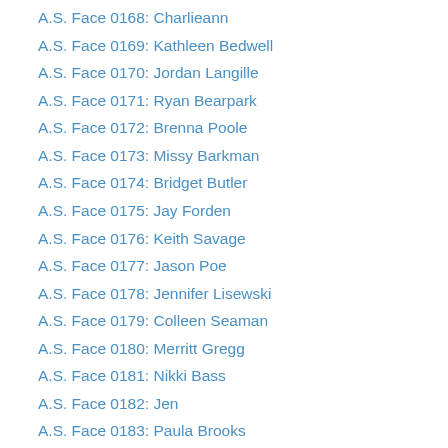A.S. Face 0168: Charlieann
A.S. Face 0169: Kathleen Bedwell
A.S. Face 0170: Jordan Langille
A.S. Face 0171: Ryan Bearpark
A.S. Face 0172: Brenna Poole
A.S. Face 0173: Missy Barkman
A.S. Face 0174: Bridget Butler
A.S. Face 0175: Jay Forden
A.S. Face 0176: Keith Savage
A.S. Face 0177: Jason Poe
A.S. Face 0178: Jennifer Lisewski
A.S. Face 0179: Colleen Seaman
A.S. Face 0180: Merritt Gregg
A.S. Face 0181: Nikki Bass
A.S. Face 0182: Jen
A.S. Face 0183: Paula Brooks
A.S. Face 0184: Dan B.
A.S. Face 0185: Ross Gillespie
A.S. Face 0186: Steve Symes
A.S. Face 0187: Samantha Moll